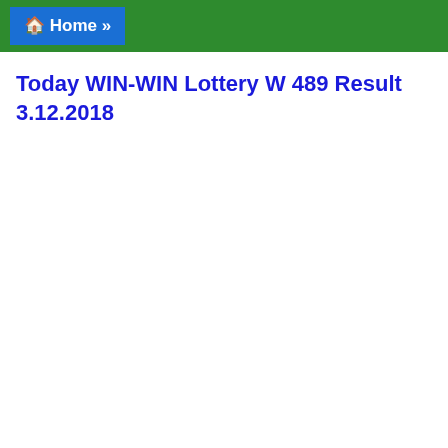🏠 Home »
Today WIN-WIN Lottery W 489 Result 3.12.2018